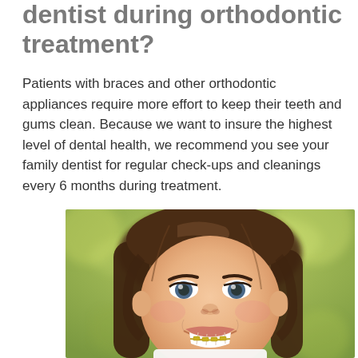dentist during orthodontic treatment?
Patients with braces and other orthodontic appliances require more effort to keep their teeth and gums clean. Because we want to insure the highest level of dental health, we recommend you see your family dentist for regular check-ups and cleanings every 6 months during treatment.
[Figure (photo): A smiling young girl with braces on her teeth and long brown hair, photographed outdoors with a blurred green background.]